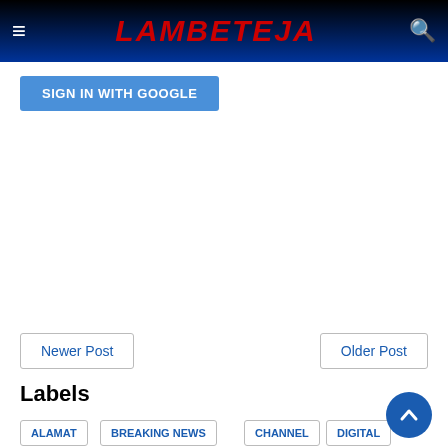LAMBETEJA
SIGN IN WITH GOOGLE
Newer Post
Older Post
Labels
ALAMAT
BREAKING NEWS
CHANNEL
DIGITAL
ENTERTAINMENT
GAME
HEWAN PELIHARAAN